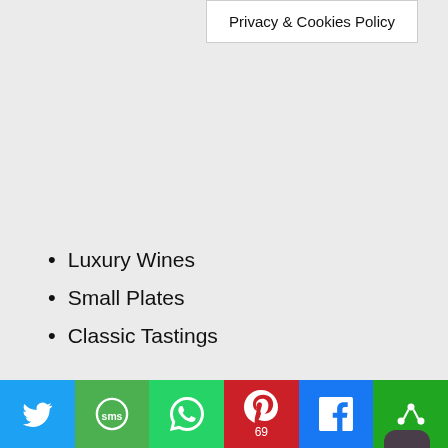Privacy & Cookies Policy
Luxury Wines
Small Plates
Classic Tastings
Grand Cru is an exceptional wine tasting destination. With a stunning array of exclusive luxury wines wa for you, this is a once in a lifetime type of experience.